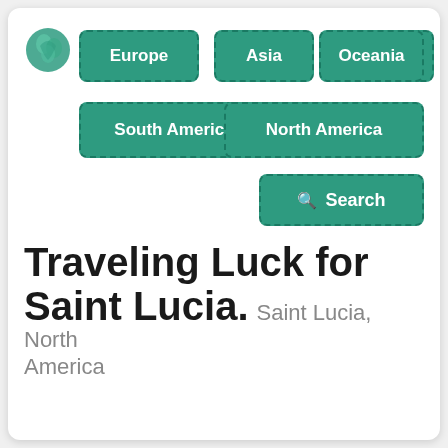[Figure (logo): Green globe/brain-like travel logo icon]
Europe
Asia
Africa
Oceania
South America
North America
Search
Traveling Luck for Saint Lucia.
Saint Lucia, North America